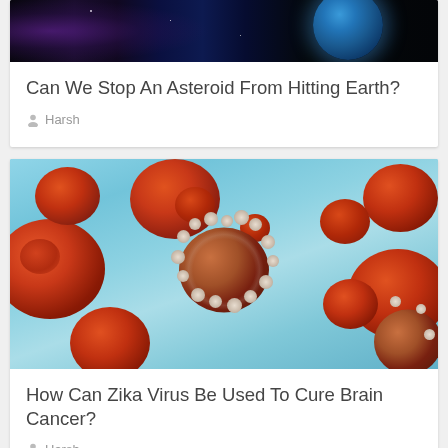[Figure (photo): Space image showing Earth and cosmic background (top portion, partially cropped)]
Can We Stop An Asteroid From Hitting Earth?
Harsh
[Figure (photo): Medical illustration of blood cells and a cancer/virus cell with spiky white protrusions on a light blue background]
How Can Zika Virus Be Used To Cure Brain Cancer?
Harsh